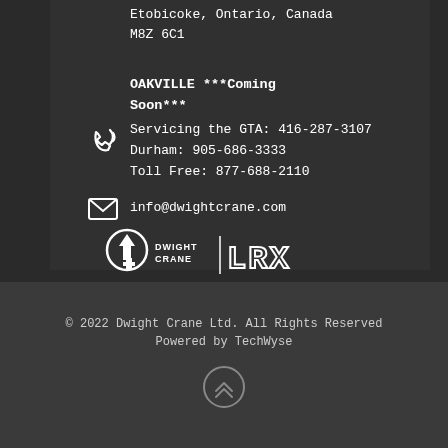Etobicoke, Ontario, Canada
M8Z 6C1
OAKVILLE ***Coming Soon***
Servicing the GTA: 416-287-3107
Durham: 905-686-3333
Toll Free: 877-688-2110
info@dwightcrane.com
[Figure (logo): Dwight Crane | LRX logo in white]
© 2022 Dwight Crane Ltd. All Rights Reserved
Powered by TechWyse